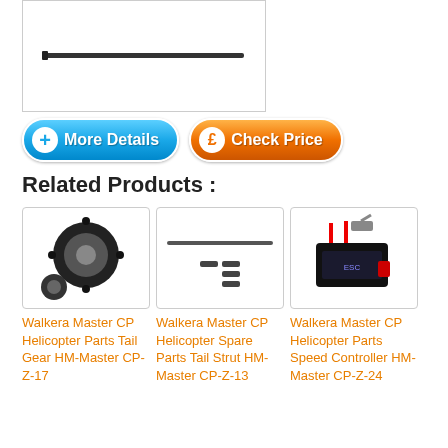[Figure (photo): Product photo of a thin carbon fiber or metal rod/shaft on white background]
[Figure (other): Blue 'More Details' button with plus icon]
[Figure (other): Orange 'Check Price' button with pound sign icon]
Related Products :
[Figure (photo): Walkera Master CP Helicopter tail gear parts on white background]
Walkera Master CP Helicopter Parts Tail Gear HM-Master CP-Z-17
[Figure (photo): Walkera Master CP Helicopter spare parts tail strut on white background]
Walkera Master CP Helicopter Spare Parts Tail Strut HM-Master CP-Z-13
[Figure (photo): Walkera Master CP Helicopter speed controller on white background]
Walkera Master CP Helicopter Parts Speed Controller HM-Master CP-Z-24